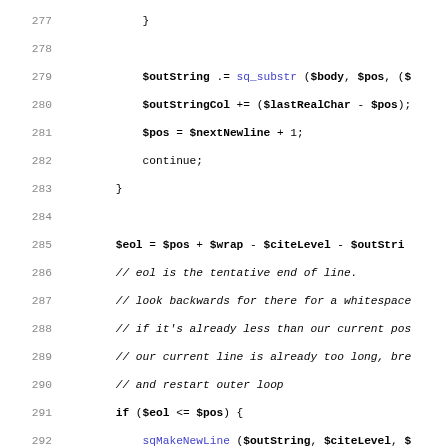[Figure (screenshot): PHP source code listing showing lines 277-308 with line numbers on the left, code in monospace font. Comments in italic, function names and variables in blue, keywords in bold.]